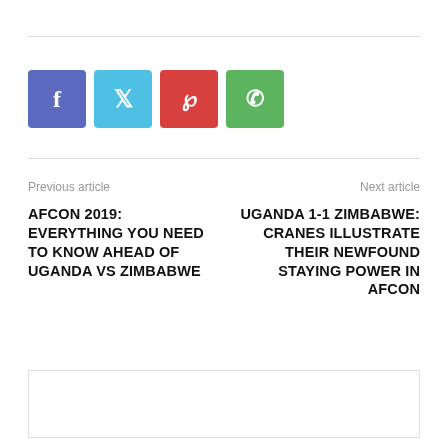[Figure (other): Social media share buttons: Facebook (purple-blue), Twitter (light blue), Pinterest (red), WhatsApp (green)]
Previous article
Next article
AFCON 2019: EVERYTHING YOU NEED TO KNOW AHEAD OF UGANDA VS ZIMBABWE
UGANDA 1-1 ZIMBABWE: CRANES ILLUSTRATE THEIR NEWFOUND STAYING POWER IN AFCON
[Figure (other): Advertisement or content box placeholder with border]